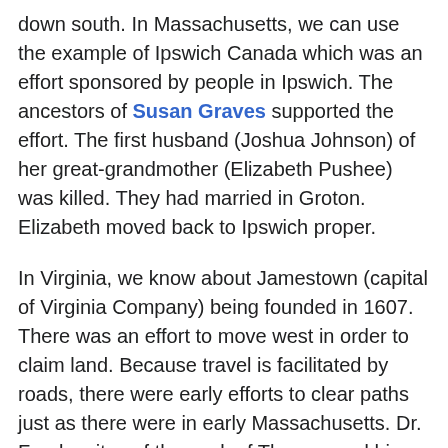down south. In Massachusetts, we can use the example of Ipswich Canada which was an effort sponsored by people in Ipswich. The ancestors of Susan Graves supported the effort. The first husband (Joshua Johnson) of her great-grandmother (Elizabeth Pushee) was killed. They had married in Groton. Elizabeth moved back to Ipswich proper.
In Virginia, we know about Jamestown (capital of Virginia Company) being founded in 1607. There was an effort to move west in order to claim land. Because travel is facilitated by roads, there were early efforts to clear paths just as there were in early Massachusetts. Dr. Frank writes of the work of Thomas and his sons doing surveying for this effort. In Virginia, one road was nicknamed "Three Notch'd Road." It ran from Richmond to the Shenandoah Valley by 1730.
By the early 1730s, there was a road that...